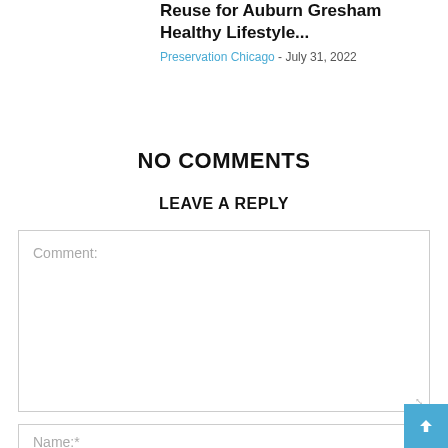Reuse for Auburn Gresham Healthy Lifestyle...
Preservation Chicago - July 31, 2022
NO COMMENTS
LEAVE A REPLY
Comment:
Name:*